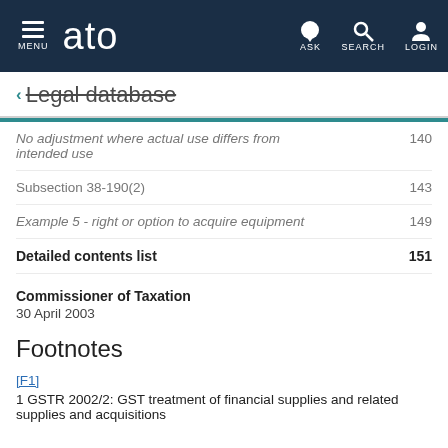MENU | ato | ASK | SEARCH | LOGIN
← Legal database
No adjustment where actual use differs from intended use   140
Subsection 38-190(2)   143
Example 5 - right or option to acquire equipment   149
Detailed contents list   151
Commissioner of Taxation
30 April 2003
Footnotes
[F1]
1 GSTR 2002/2: GST treatment of financial supplies and related supplies and acquisitions